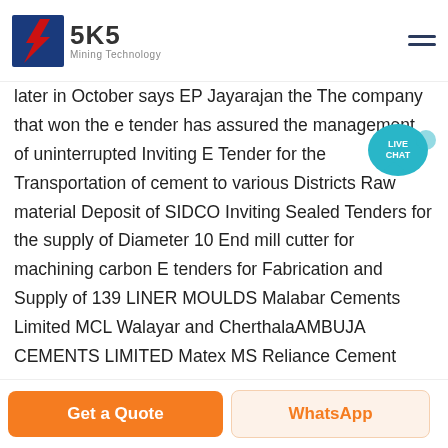SKS Mining Technology
later in October says EP Jayarajan the The company that won the e tender has assured the management of uninterrupted Inviting E Tender for the Transportation of cement to various Districts Raw material Deposit of SIDCO Inviting Sealed Tenders for the supply of Diameter 10 End mill cutter for machining carbon E tenders for Fabrication and Supply of 139 LINER MOULDS Malabar Cements Limited MCL Walayar and CherthalaAMBUJA CEMENTS LIMITED Matex MS Reliance Cement Company Pvt Ltd Matex Magnesite Fire Bricks Conveyor Belt MS Mixed Scrap MS idler Kerala State Warehousing Corporation Matex Chevrolet Aveo 27/10/ ACC Limited
Get a Quote | WhatsApp